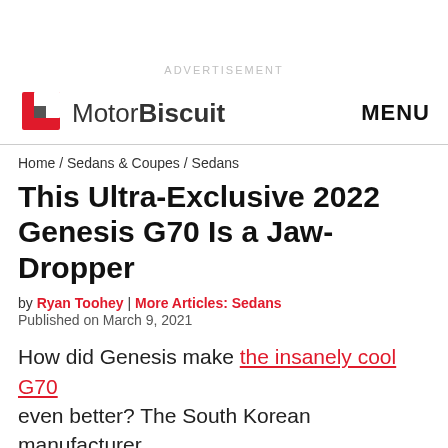ADVERTISEMENT
MotorBiscuit   MENU
Home / Sedans & Coupes / Sedans
This Ultra-Exclusive 2022 Genesis G70 Is a Jaw-Dropper
by Ryan Toohey | More Articles: Sedans
Published on March 9, 2021
How did Genesis make the insanely cool G70 even better? The South Korean manufacturer